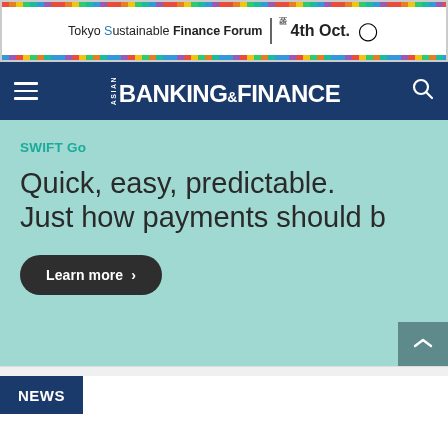[Figure (screenshot): Tokyo Sustainable Finance Forum advertisement banner with rainbow border, date 4th Oct.]
ASIAN BANKING & FINANCE
[Figure (infographic): SWIFT Go promotional banner. Tag: SWIFT Go. Title: Quick, easy, predictable. Just how payments should b[e]. Button: Learn more >]
NEWS